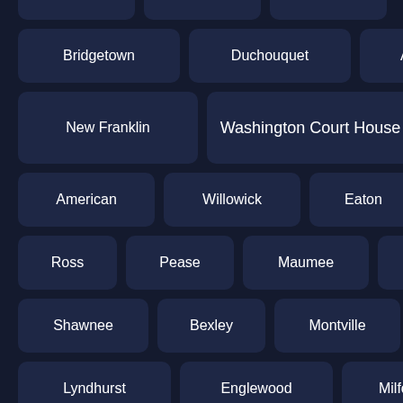Bridgetown
Duchouquet
Adams
New Franklin
Washington Court House
American
Willowick
Eaton
Brimfield
Ross
Pease
Maumee
Sharonville
Shawnee
Bexley
Montville
Mad River
Lyndhurst
Englewood
Milford
Brecksville
Fostoria
Oakwood